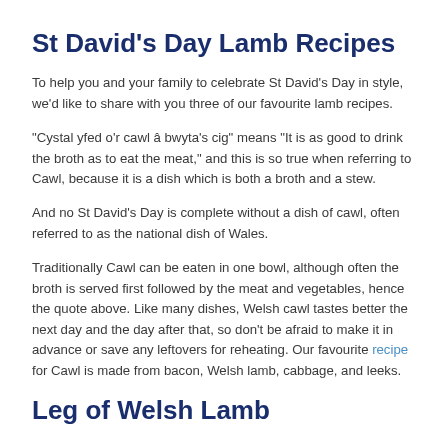St David's Day Lamb Recipes
To help you and your family to celebrate St David's Day in style, we'd like to share with you three of our favourite lamb recipes.
"Cystal yfed o'r cawl â bwyta's cig" means "It is as good to drink the broth as to eat the meat," and this is so true when referring to Cawl, because it is a dish which is both a broth and a stew.
And no St David's Day is complete without a dish of cawl, often referred to as the national dish of Wales.
Traditionally Cawl can be eaten in one bowl, although often the broth is served first followed by the meat and vegetables, hence the quote above. Like many dishes, Welsh cawl tastes better the next day and the day after that, so don't be afraid to make it in advance or save any leftovers for reheating. Our favourite recipe for Cawl is made from bacon, Welsh lamb, cabbage, and leeks.
Leg of Welsh Lamb